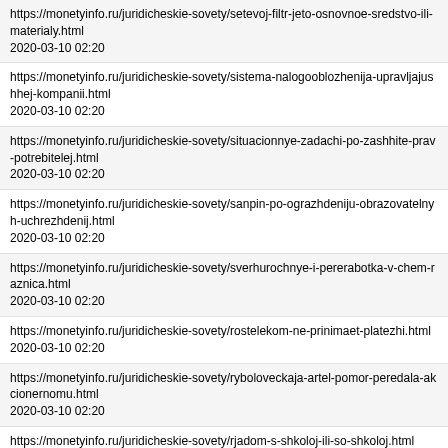https://monetyinfo.ru/juridicheskie-sovety/setevoj-filtr-jeto-osnovnoe-sredstvo-ili-materialy.html
2020-03-10 02:20
https://monetyinfo.ru/juridicheskie-sovety/sistema-nalogooblozhenija-upravljajushhej-kompanii.html
2020-03-10 02:20
https://monetyinfo.ru/juridicheskie-sovety/situacionnye-zadachi-po-zashhite-prav-potrebitelej.html
2020-03-10 02:20
https://monetyinfo.ru/juridicheskie-sovety/sanpin-po-ograzhdeniju-obrazovatelnyh-uchrezhdeni.html
2020-03-10 02:20
https://monetyinfo.ru/juridicheskie-sovety/sverhurochnye-i-pererabotka-v-chem-raznica.html
2020-03-10 02:20
https://monetyinfo.ru/juridicheskie-sovety/rostelekom-ne-prinimaet-platezhi.html
2020-03-10 02:20
https://monetyinfo.ru/juridicheskie-sovety/ryboloveckaja-artel-pomor-peredala-akcionernomu.html
2020-03-10 02:20
https://monetyinfo.ru/juridicheskie-sovety/rjadom-s-shkoloj-ili-so-shkoloj.html
2020-03-10 02:20
https://monetyinfo.ru/juridicheskie-sovety/reshenie-suda-opredelenie-porjadka-obshhenija-s.html
2020-03-10 02:20
https://monetyinfo.ru/juridicheskie-sovety/reshenie-suda-s-bolshoj-ili-malenkoj-bukvy.html
2020-03-10 02:20